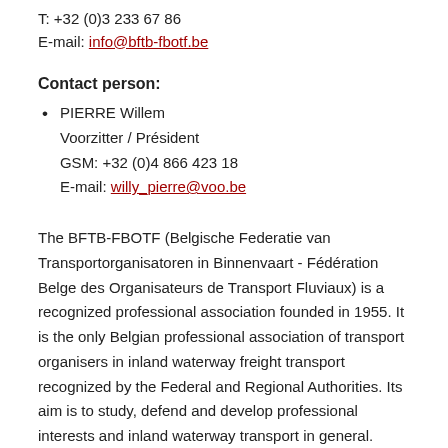T: +32 (0)3 233 67 86
E-mail: info@bftb-fbotf.be
Contact person:
PIERRE Willem
Voorzitter / Président
GSM: +32 (0)4 866 423 18
E-mail: willy_pierre@voo.be
The BFTB-FBOTF (Belgische Federatie van Transportorganisatoren in Binnenvaart - Fédération Belge des Organisateurs de Transport Fluviaux) is a recognized professional association founded in 1955. It is the only Belgian professional association of transport organisers in inland waterway freight transport recognized by the Federal and Regional Authorities. Its aim is to study, defend and develop professional interests and inland waterway transport in general.